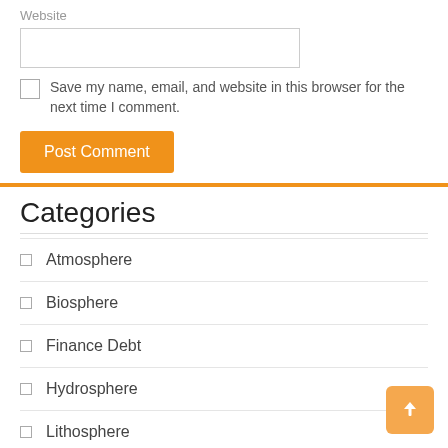Website
Save my name, email, and website in this browser for the next time I comment.
Post Comment
Categories
Atmosphere
Biosphere
Finance Debt
Hydrosphere
Lithosphere
Recent Posts